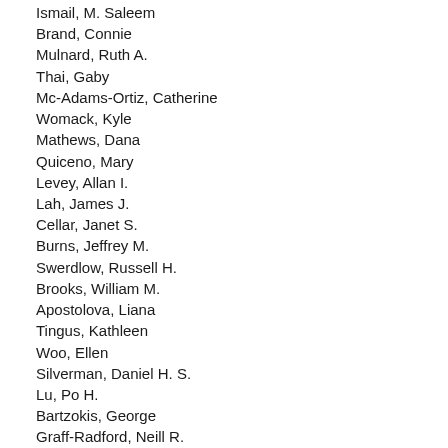Ismail, M. Saleem
Brand, Connie
Mulnard, Ruth A.
Thai, Gaby
Mc-Adams-Ortiz, Catherine
Womack, Kyle
Mathews, Dana
Quiceno, Mary
Levey, Allan I.
Lah, James J.
Cellar, Janet S.
Burns, Jeffrey M.
Swerdlow, Russell H.
Brooks, William M.
Apostolova, Liana
Tingus, Kathleen
Woo, Ellen
Silverman, Daniel H. S.
Lu, Po H.
Bartzokis, George
Graff-Radford, Neill R.
Parfitt, Francine
Kendall, Tracy
Johnson, Heather
van Dyck, Christopher H.